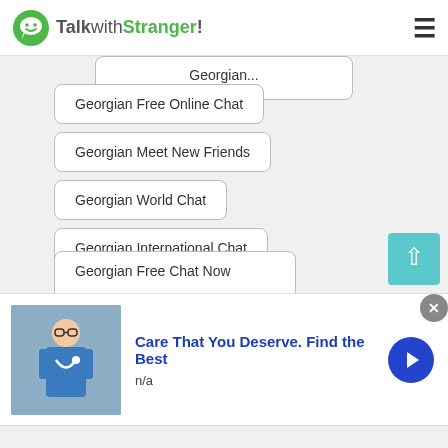TalkwithStranger!
Georgian Free Online Chat
Georgian Meet New Friends
Georgian World Chat
Georgian International Chat
Georgian Depression Chat
Georgian TWS Chat Avenue
Georgian Things to Talk About
Georgian Free Chat Now
[Figure (other): Advertisement banner with medical image. Text: 'Care That You Deserve. Find the Best', subtext: 'n/a']